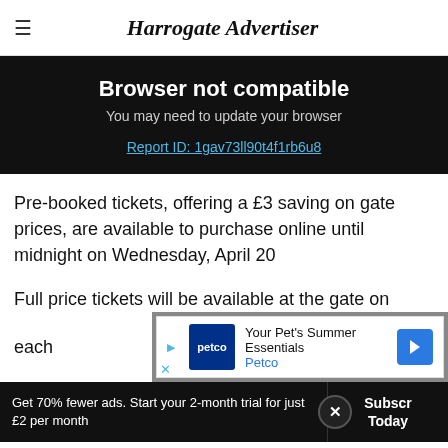Harrogate Advertiser
Browser not compatible
You may need to update your browser
Report ID: 1gav73ll90t4f1rb6u8
Pre-booked tickets, offering a £3 saving on gate prices, are available to purchase online until midnight on Wednesday, April 20
Full price tickets will be available at the gate on each
[Figure (screenshot): Petco advertisement banner: 'Your Pet's Summer Essentials - Petco']
Get 70% fewer ads. Start your 2-month trial for just £2 per month  |  Subscribe Today